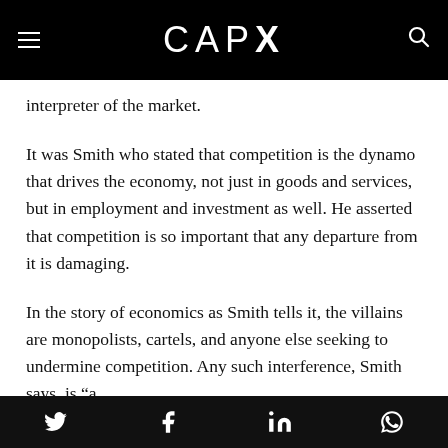CAPX
interpreter of the market.
It was Smith who stated that competition is the dynamo that drives the economy, not just in goods and services, but in employment and investment as well. He asserted that competition is so important that any departure from it is damaging.
In the story of economics as Smith tells it, the villains are monopolists, cartels, and anyone else seeking to undermine competition. Any such interference, Smith says, is “a
[social share icons: Twitter, Facebook, LinkedIn, WhatsApp]